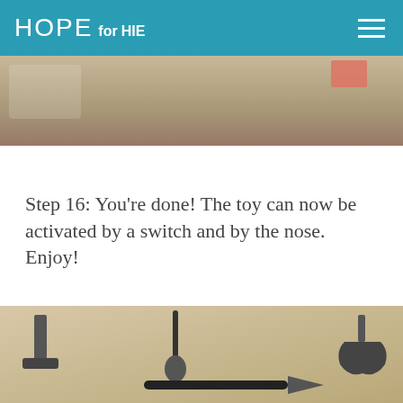HOPE for HIE
[Figure (photo): Close-up photo of a textured surface with a pink object visible in the upper right corner — appears to be a workbench or floor surface]
Step 16: You're done! The toy can now be activated by a switch and by the nose. Enjoy!
[Figure (photo): Photo of tools on a workbench including a hammer or chisel on the left, a dark hand tool in the center, a wrench on the right, and a soldering iron at the bottom]